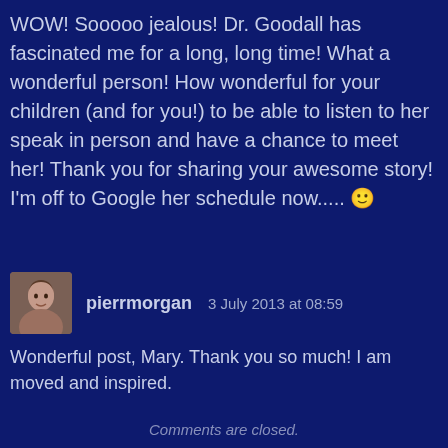WOW! Sooooo jealous! Dr. Goodall has fascinated me for a long, long time! What a wonderful person! How wonderful for your children (and for you!) to be able to listen to her speak in person and have a chance to meet her! Thank you for sharing your awesome story! I'm off to Google her schedule now..... 🙂
pierrmorgan   3 July 2013 at 08:59
Wonderful post, Mary. Thank you so much! I am moved and inspired.
Comments are closed.